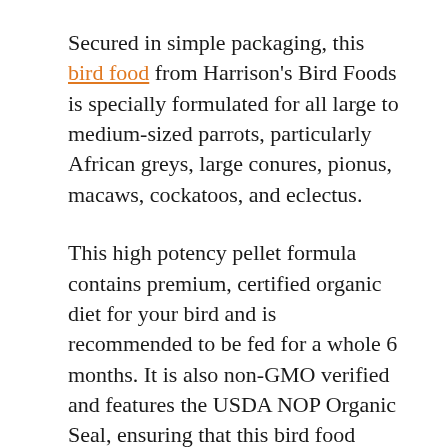Secured in simple packaging, this bird food from Harrison's Bird Foods is specially formulated for all large to medium-sized parrots, particularly African greys, large conures, pionus, macaws, cockatoos, and eclectus.
This high potency pellet formula contains premium, certified organic diet for your bird and is recommended to be fed for a whole 6 months. It is also non-GMO verified and features the USDA NOP Organic Seal, ensuring that this bird food contains only the highest quality of ingredients without chemicals.
Not only that, but this wholesome goodness also contains no artificial colors, flavor, sweeteners, and preservatives, making it a highly nutritious